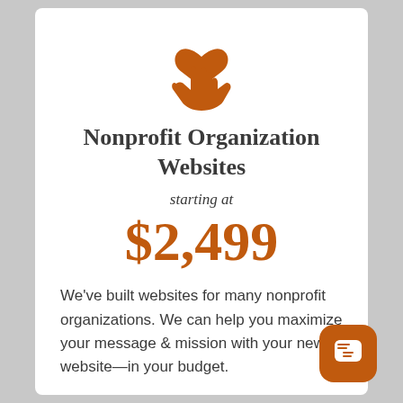[Figure (illustration): Orange icon of a hand holding a heart, representing nonprofit/charity]
Nonprofit Organization Websites
starting at
$2,499
We've built websites for many nonprofit organizations. We can help you maximize your message & mission with your new website—in your budget.
[Figure (other): Orange chat/messaging button icon in bottom right corner]